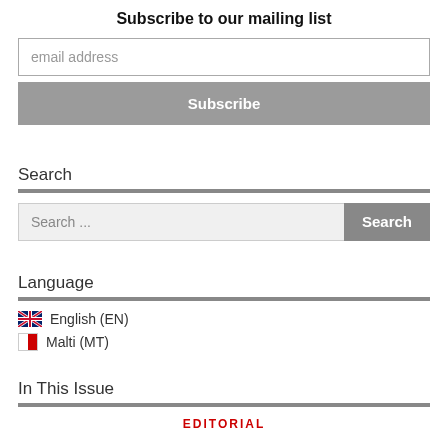Subscribe to our mailing list
email address
Subscribe
Search
Search ...
Search
Language
English (EN)
Malti (MT)
In This Issue
EDITORIAL